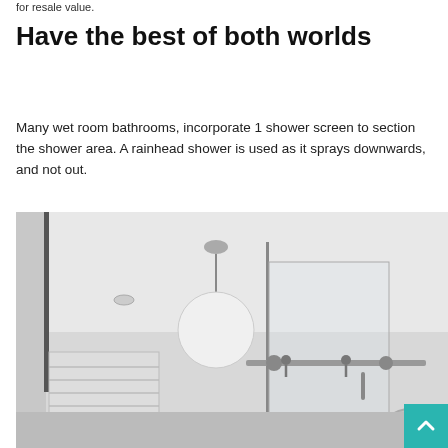for resale value.
Have the best of both worlds
Many wet room bathrooms, incorporate 1 shower screen to section the shower area. A rainhead shower is used as it sprays downwards, and not out.
[Figure (photo): Interior bathroom photo showing a wet room with glass shower screen on a sliding rail, a large globe pendant light hanging from a white ceiling, a recessed ceiling light, plantation shutters on a window, and partial view of a round mirror. Black and white / greyscale image.]